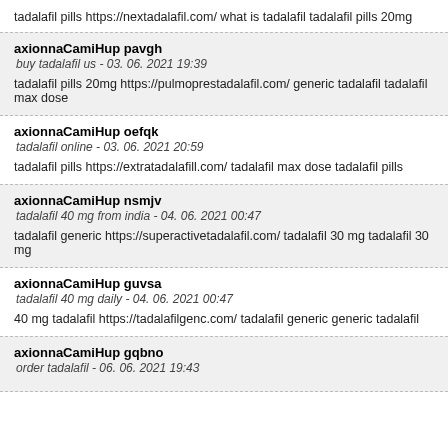tadalafil pills https://nextadalafil.com/ what is tadalafil tadalafil pills 20mg
axionnaCamiHup pavgh
buy tadalafil us - 03. 06. 2021 19:39
tadalafil pills 20mg https://pulmoprestadalafil.com/ generic tadalafil tadalafil max dose
axionnaCamiHup oefqk
tadalafil online - 03. 06. 2021 20:59
tadalafil pills https://extratadalafill.com/ tadalafil max dose tadalafil pills
axionnaCamiHup nsmjv
tadalafil 40 mg from india - 04. 06. 2021 00:47
tadalafil generic https://superactivetadalafil.com/ tadalafil 30 mg tadalafil 30 mg
axionnaCamiHup guvsa
tadalafil 40 mg daily - 04. 06. 2021 00:47
40 mg tadalafil https://tadalafilgenc.com/ tadalafil generic generic tadalafil
axionnaCamiHup gqbno
order tadalafil - 06. 06. 2021 19:43